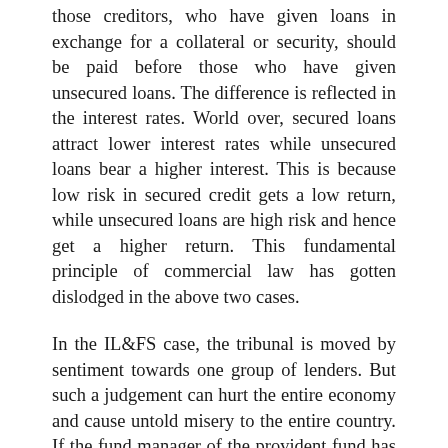those creditors, who have given loans in exchange for a collateral or security, should be paid before those who have given unsecured loans. The difference is reflected in the interest rates. World over, secured loans attract lower interest rates while unsecured loans bear a higher interest. This is because low risk in secured credit gets a low return, while unsecured loans are high risk and hence get a higher return. This fundamental principle of commercial law has gotten dislodged in the above two cases.
In the IL&FS case, the tribunal is moved by sentiment towards one group of lenders. But such a judgement can hurt the entire economy and cause untold misery to the entire country. If the fund manager of the provident fund has been reckless and subscribed to debentures that are substandard, while bankers have been smart enough to “secure” their credit, the mere fact that the PFs beneficiaries are more vulnerable